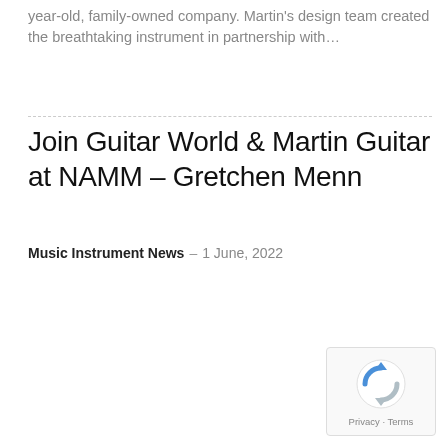year-old, family-owned company. Martin's design team created the breathtaking instrument in partnership with…
Join Guitar World & Martin Guitar at NAMM – Gretchen Menn
Music Instrument News - 1 June, 2022
[Figure (other): reCAPTCHA widget showing the Google reCAPTCHA logo (circular arrows icon in blue/grey) with 'Privacy · Terms' text below]